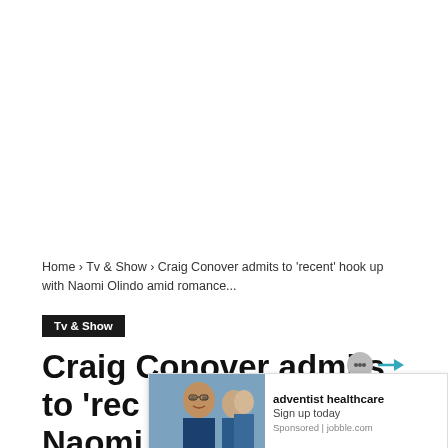Home › Tv & Show › Craig Conover admits to 'recent' hook up with Naomi Olindo amid romance...
Tv & Show
Craig Conover admits to 'recent' hook up with Naomi Olindo amid romance with
[Figure (photo): Advertisement overlay showing healthcare workers in scrubs, promoting adventist healthcare. Sponsored by jobble.com]